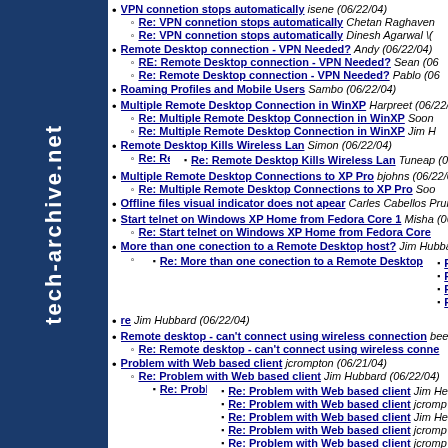[Figure (logo): tech-archive.net vertical sidebar logo in dark blue]
VPN connetion stops automatically isene (06/22/04)
Re: VPN connetion stops automatically Chetan Raghaven
Re: VPN connetion stops automatically Dinesh Agarwal \(
Remote Desktop connection - VPN Needed? Andy (06/22/04)
RE: Remote Desktop connection - VPN Needed? Sean (06
Re: Remote Desktop connection - VPN Needed? Pablo (06
Roaming Profiles and Mobile Users Sambo (06/22/04)
Multiple Remote Desktop Connection in WinXP Harpreet (06/22/04)
Re: Multiple Remote Desktop Connection in WinXP Soon
Re: Multiple Remote Desktop Connection in WinXP Jim H
Remote Desktop Kills Wireless Lan Simon (06/22/04)
Re: Remote Desktop Kills Wireless Lan Sooner Al (06/22/04
Re: Remote Desktop Kills Wireless Lan Tuneap (0
Multiple Remote Desktop Connections to XP Pro bjohns (06/22/04)
Re: Multiple Remote Desktop Connections to XP Pro Soo
Offline files visual indicator does not apear Carles Cabellos Pruna
Start telnet on Windows XP Home from Fedora Core 1 Misha (06/2
Re: Start telnet on Windows XP Home from Fedora Core
More than one conection to a Remote Desktop host? Jim Hubbar
Re: More than one conection to a Remote Desktop host?
Re: More than one conection to a Remote Desktop
Re: More than one conection to a Remote
Re: More than one conection to a Remote
Re: More than one conection to a Remote
Re: More than one conection to a Remote
re Jim Hubbard (06/22/04)
Remote desktop - can't connect using wireless connection beee
Re: Remote desktop - can't connect using wireless conne
Problem with Web based client jcrompton (06/21/04)
Re: Problem with Web based client Jim Hubbard (06/22/04)
Re: Problem with Web based client jcrompton (06/2
Re: Problem with Web based client Jim He
Re: Problem with Web based client jcromp
Re: Problem with Web based client Jim He
Re: Problem with Web based client jcromp
Re: Problem with Web based client jcromp
Re: Problem with Web based client Jim He
Re: Problem with Web based client jcro